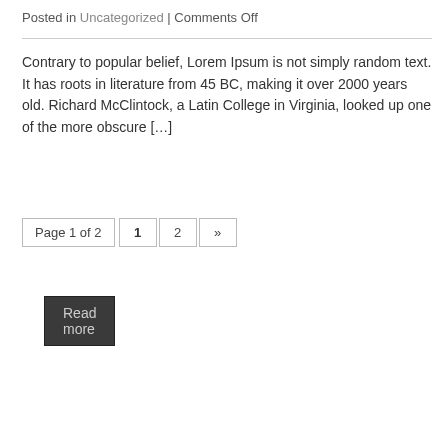Posted in Uncategorized | Comments Off
Contrary to popular belief, Lorem Ipsum is not simply random text. It has roots in literature from 45 BC, making it over 2000 years old. Richard McClintock, a Latin College in Virginia, looked up one of the more obscure […]
Read more
Page 1 of 2  1  2  »